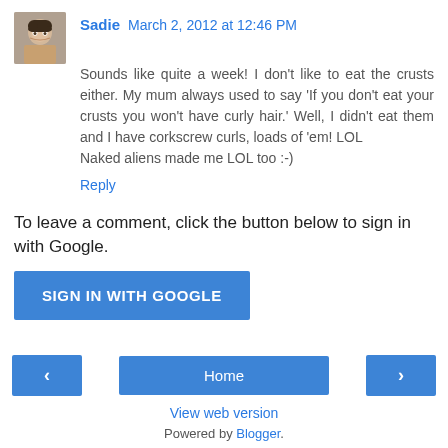Sadie March 2, 2012 at 12:46 PM
Sounds like quite a week! I don't like to eat the crusts either. My mum always used to say 'If you don't eat your crusts you won't have curly hair.' Well, I didn't eat them and I have corkscrew curls, loads of 'em! LOL
Naked aliens made me LOL too :-)
Reply
To leave a comment, click the button below to sign in with Google.
SIGN IN WITH GOOGLE
‹
Home
›
View web version
Powered by Blogger.